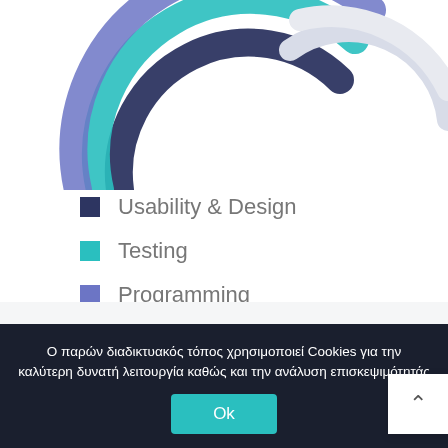[Figure (infographic): Partial radar/radial chart showing colored arcs: dark navy at top, teal/cyan arc, and blue arc, with a lighter grey arc on the right side. Only the top portion of the chart is visible.]
Usability & Design
Testing
Programming
[Figure (screenshot): Partial view of a light grey section with some partial text and a teal circle icon, representing the top of the next section on the page.]
Ο παρών διαδικτυακός τόπος χρησιμοποιεί Cookies για την καλύτερη δυνατή λειτουργία καθώς και την ανάλυση επισκεψιμότητάς